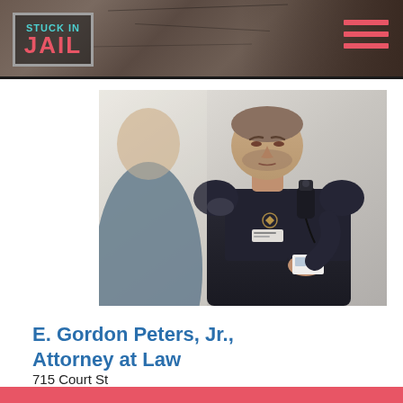STUCK IN JAIL
[Figure (photo): A police officer in dark uniform holding a radio/microphone, examining a document or ID, with a person visible in the foreground from behind]
E. Gordon Peters, Jr., Attorney at Law
715 Court St
Lynchburg, VA 24504
Visit Website